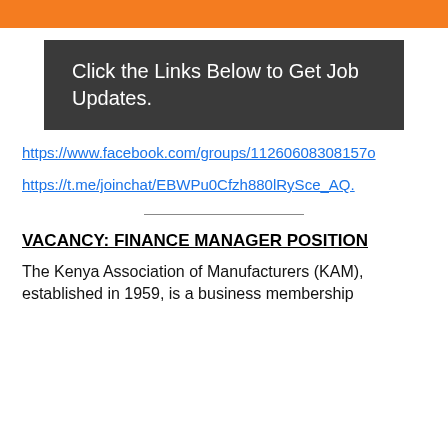[Figure (other): Orange decorative bar at top of page]
Click the Links Below to Get Job Updates.
https://www.facebook.com/groups/11260608308157o
https://t.me/joinchat/EBWPu0Cfzh880lRySce_AQ.
VACANCY: FINANCE MANAGER POSITION
The Kenya Association of Manufacturers (KAM), established in 1959, is a business membership